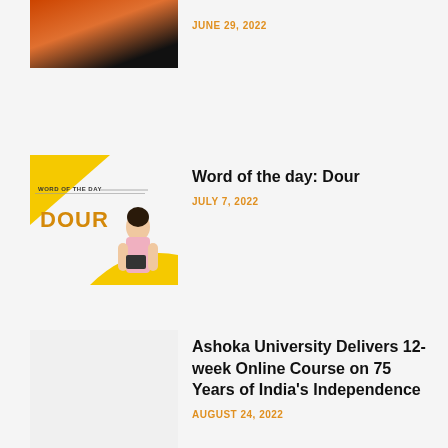[Figure (photo): Partial thumbnail image with dark and orange tones at the top of the page]
JUNE 29, 2022
[Figure (illustration): Word of the Day card with yellow background shapes, text 'DOUR' in orange, and a woman holding a folder]
Word of the day: Dour
JULY 7, 2022
[Figure (photo): Blank/placeholder thumbnail for Ashoka University article]
Ashoka University Delivers 12-week Online Course on 75 Years of India's Independence
AUGUST 24, 2022